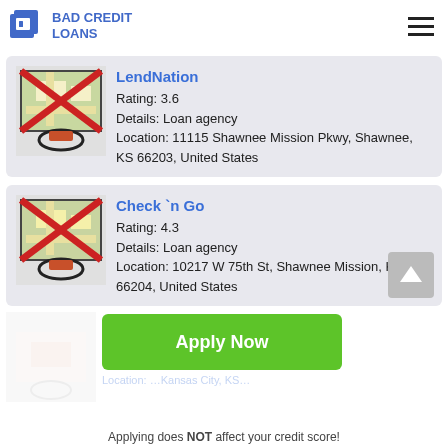BAD CREDIT LOANS
LendNation
Rating: 3.6
Details: Loan agency
Location: 11115 Shawnee Mission Pkwy, Shawnee, KS 66203, United States
Check `n Go
Rating: 4.3
Details: Loan agency
Location: 10217 W 75th St, Shawnee Mission, KS 66204, United States
[Figure (other): Apply Now button overlay with ghost card for a third loan agency listing]
Applying does NOT affect your credit score!
No credit check to apply.